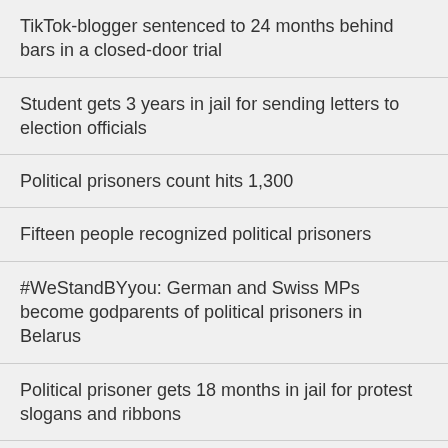TikTok-blogger sentenced to 24 months behind bars in a closed-door trial
Student gets 3 years in jail for sending letters to election officials
Political prisoners count hits 1,300
Fifteen people recognized political prisoners
#WeStandBYyou: German and Swiss MPs become godparents of political prisoners in Belarus
Political prisoner gets 18 months in jail for protest slogans and ribbons
Political prisoner...
[Figure (photo): Dark red/maroon banner with swoosh graphic design and ELECTIONS label in the top left corner]